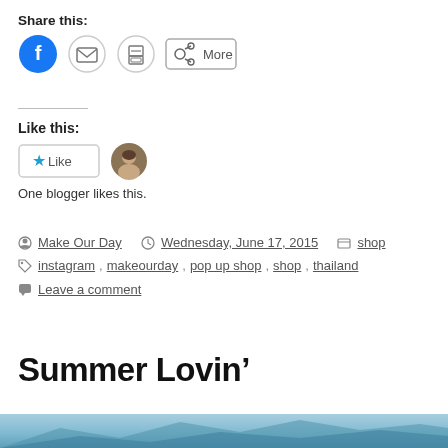Share this:
[Figure (screenshot): Share buttons: Facebook (blue circle), Email (grey circle), Print (grey circle), and More button with share icon]
Like this:
[Figure (screenshot): Like button with star icon and a small avatar photo of a person]
One blogger likes this.
Make Our Day   Wednesday, June 17, 2015   shop
instagram, makeourday, pop up shop, shop, thailand
Leave a comment
Summer Lovin’
[Figure (photo): Partial photo strip showing a coastal/ocean scene with mountains in the background]